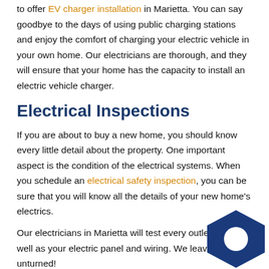to offer EV charger installation in Marietta. You can say goodbye to the days of using public charging stations and enjoy the comfort of charging your electric vehicle in your own home. Our electricians are thorough, and they will ensure that your home has the capacity to install an electric vehicle charger.
Electrical Inspections
If you are about to buy a new home, you should know every little detail about the property. One important aspect is the condition of the electrical systems. When you schedule an electrical safety inspection, you can be sure that you will know all the details of your new home's electrics.
Our electricians in Marietta will test every outlet and as well as your electric panel and wiring. We leave no stone unturned!
[Figure (illustration): Blue hexagon shape with a white circle in the center, positioned in the bottom right corner of the page.]